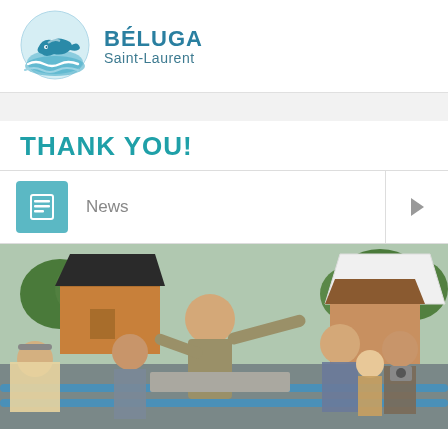[Figure (logo): Beluga Saint-Laurent logo with circular whale/water icon and text BÉLUGA Saint-Laurent]
THANK YOU!
[Figure (other): News navigation bar with teal document icon, 'News' label and right arrow]
[Figure (photo): Outdoor photo showing a man in gray shirt gesturing with outstretched arm to a crowd of people, with wooden buildings, trees, and white tent in background, blue railings in foreground]